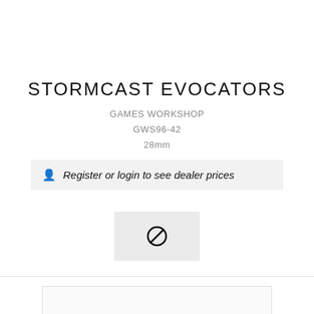STORMCAST EVOCATORS
GAMES WORKSHOP
GWS96-42
28mm
Register or login to see dealer prices
[Figure (other): No image placeholder with a prohibition/cancel icon (circle with diagonal line) on a light grey background]
[Figure (other): Empty placeholder box with light border at bottom of page]